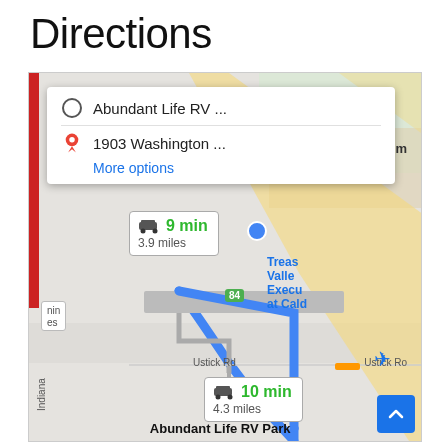Directions
[Figure (screenshot): Google Maps screenshot showing driving directions from Abundant Life RV Park area to 1903 Washington address, with route overlay showing 9 min / 3.9 miles and 10 min / 4.3 miles route options, Abundant Life RV Park destination marked at bottom, interstate 84 visible, and map includes pink hotel marker labeled Am, blue location markers, and airport icon.]